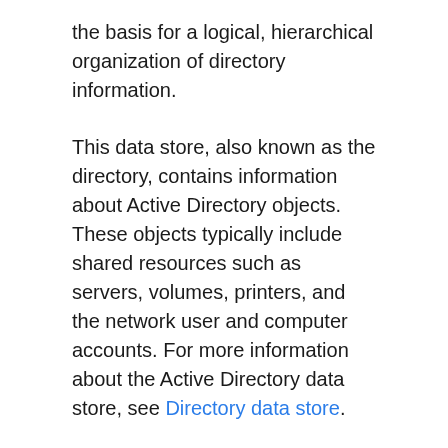the basis for a logical, hierarchical organization of directory information.
This data store, also known as the directory, contains information about Active Directory objects. These objects typically include shared resources such as servers, volumes, printers, and the network user and computer accounts. For more information about the Active Directory data store, see Directory data store.
Security is integrated with Active Directory through logon authentication and access control to objects in the directory. With a single network logon, administrators can manage directory data and organization throughout their network, and authorized network users can access resources anywhere on the network. Policy-